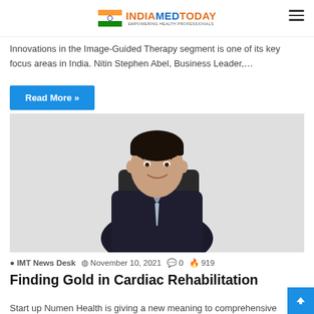INDIAMEDTODAY
requirements … customers first
Innovations in the Image-Guided Therapy segment is one of its key focus areas in India. Nitin Stephen Abel, Business Leader,…
Read More »
[Figure (photo): Professional headshot of a young man in a dark suit, smiling, seated at a desk]
IMT News Desk   November 10, 2021   0   919
Finding Gold in Cardiac Rehabilitation
Start up Numen Health is giving a new meaning to comprehensive